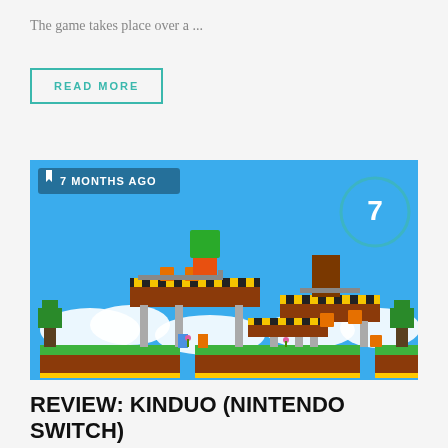The game takes place over a ...
READ MORE
[Figure (screenshot): Screenshot of a 2D platformer video game (Kinduo for Nintendo Switch) with colorful pixel-art style. Blue sky background, platforms with yellow/black hazard stripes, green trees, pipes, and small characters. A badge showing '7 MONTHS AGO' is in the upper-left corner. A circular rating badge showing '7' is in the upper-right corner.]
REVIEW: KINDUO (NINTENDO SWITCH)